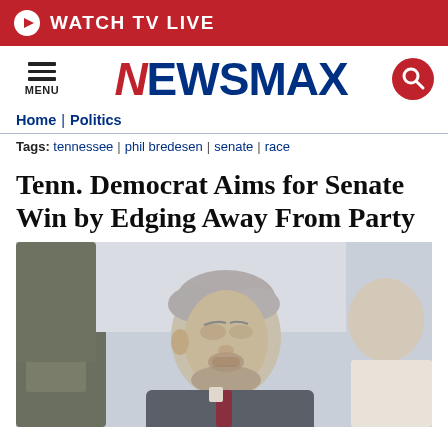WATCH TV LIVE
[Figure (logo): Newsmax logo with hamburger menu and search icon]
Home | Politics
Tags: tennessee | phil bredesen | senate | race
Tenn. Democrat Aims for Senate Win by Edging Away From Party
[Figure (photo): An older man in a grey suit and tie speaking with another person outdoors, with trees in the background]